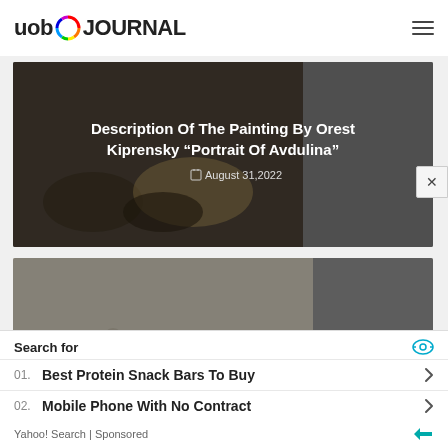uob JOURNAL
[Figure (photo): Dark background painting detail with a title overlay: Description Of The Painting By Orest Kiprensky "Portrait Of Avdulina" - August 31,2022]
[Figure (photo): Light-toned painting detail with a title overlay: Description Of The Painting By Salvador Dali "The Way Of The Riddle" - August 31,2022]
Search for
01. Best Protein Snack Bars To Buy
02. Mobile Phone With No Contract
Yahoo! Search | Sponsored